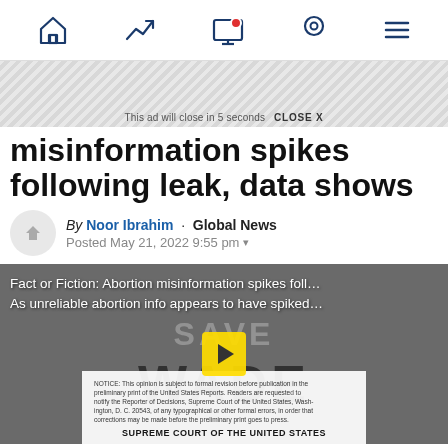Navigation bar with home, trending, notifications, location, and menu icons
This ad will close in 5 seconds  CLOSE X
misinformation spikes following leak, data shows
By Noor Ibrahim · Global News
Posted May 21, 2022 9:55 pm
[Figure (screenshot): Video thumbnail showing a protest sign reading SAVE WADE with a Supreme Court document overlay. Overlay text reads: Fact or Fiction: Abortion misinformation spikes foll... / As unreliable abortion info appears to have spiked... A play button is visible in the center.]